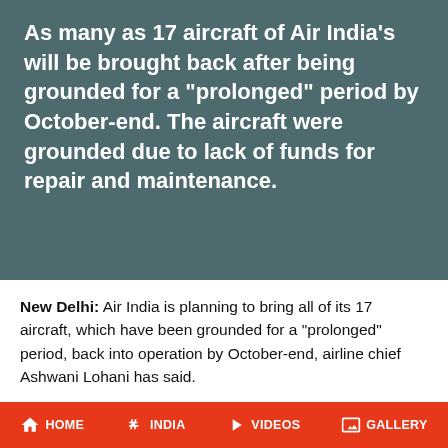As many as 17 aircraft of Air India's will be brought back after being grounded for a "prolonged" period by October-end. The aircraft were grounded due to lack of funds for repair and maintenance.
New Delhi: Air India is planning to bring all of its 17 aircraft, which have been grounded for a "prolonged" period, back into operation by October-end, airline chief Ashwani Lohani has said.
These 17 aircraft have been grounded for time periods ranging from four months to one year due to lack of funds for their repair and maintenance.
HOME  INDIA  VIDEOS  GALLERY